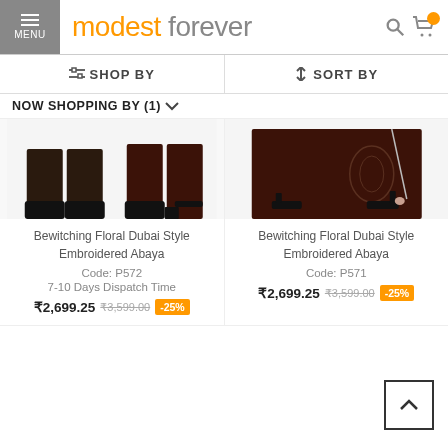modest forever
SHOP BY | SORT BY
NOW SHOPPING BY (1)
[Figure (photo): Product image of dark abaya with shoes - left product (P572)]
Bewitching Floral Dubai Style Embroidered Abaya
Code: P572
7-10 Days Dispatch Time
₹2,699.25  ₹3,599.00  -25%
[Figure (photo): Product image of dark abaya with heels - right product (P571)]
Bewitching Floral Dubai Style Embroidered Abaya
Code: P571
₹2,699.25  ₹3,599.00  -25%